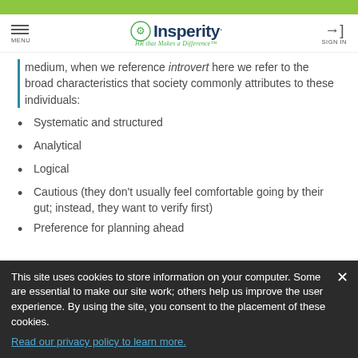MENU | Insperity HR that Makes a Difference™ | SIGN IN
medium, when we reference introvert here we refer to the broad characteristics that society commonly attributes to these individuals:
Systematic and structured
Analytical
Logical
Cautious (they don't usually feel comfortable going by their gut; instead, they want to verify first)
Preference for planning ahead
This site uses cookies to store information on your computer. Some are essential to make our site work; others help us improve the user experience. By using the site, you consent to the placement of these cookies. Read our privacy policy to learn more.